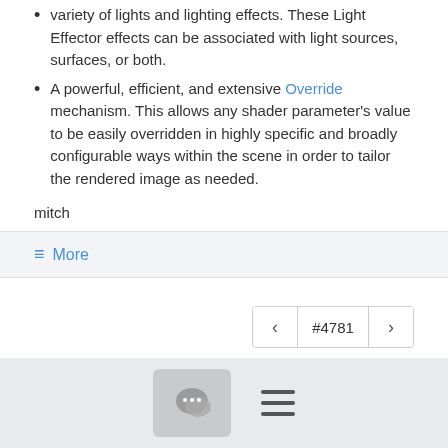variety of lights and lighting effects. These Light Effector effects can be associated with light sources, surfaces, or both.
A powerful, efficient, and extensive Override mechanism. This allows any shader parameter's value to be easily overridden in highly specific and broadly configurable ways within the scene in order to tailor the rendered image as needed.
mitch
≡ More
< #4781 >
Join osl-dev@lists.aswf.io to automatically receive all group messages.